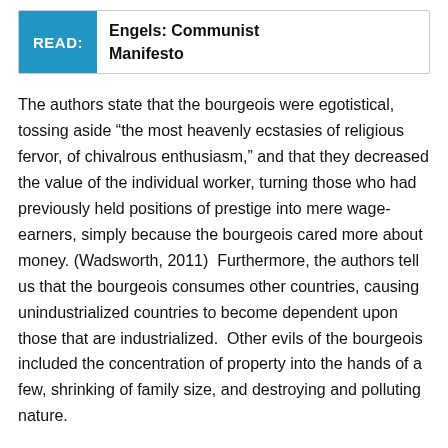[Figure (other): READ box with blue label and bold title 'Engels: Communist Manifesto']
The authors state that the bourgeois were egotistical, tossing aside “the most heavenly ecstasies of religious fervor, of chivalrous enthusiasm,” and that they decreased the value of the individual worker, turning those who had previously held positions of prestige into mere wage-earners, simply because the bourgeois cared more about money. (Wadsworth, 2011)  Furthermore, the authors tell us that the bourgeois consumes other countries, causing unindustrialized countries to become dependent upon those that are industrialized.  Other evils of the bourgeois included the concentration of property into the hands of a few, shrinking of family size, and destroying and polluting nature.